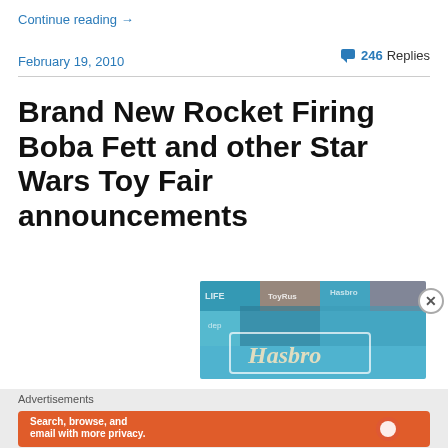Continue reading →
February 19, 2010
246 Replies
Brand New Rocket Firing Boba Fett and other Star Wars Toy Fair announcements
[Figure (photo): Hasbro Toy Fair backdrop with colorful toy brand logos on blue background]
Advertisements
[Figure (screenshot): DuckDuckGo advertisement - Search, browse, and email with more privacy. All in One Free App]